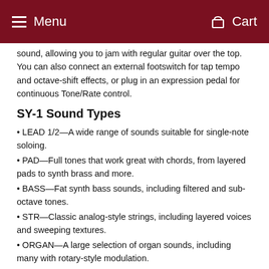Menu   Cart
sound, allowing you to jam with regular guitar over the top. You can also connect an external footswitch for tap tempo and octave-shift effects, or plug in an expression pedal for continuous Tone/Rate control.
SY-1 Sound Types
LEAD 1/2—A wide range of sounds suitable for single-note soloing.
PAD—Full tones that work great with chords, from layered pads to synth brass and more.
BASS—Fat synth bass sounds, including filtered and sub-octave tones.
STR—Classic analog-style strings, including layered voices and sweeping textures.
ORGAN—A large selection of organ sounds, including many with rotary-style modulation.
BELL—Percussive synth sounds with metallic resonance.